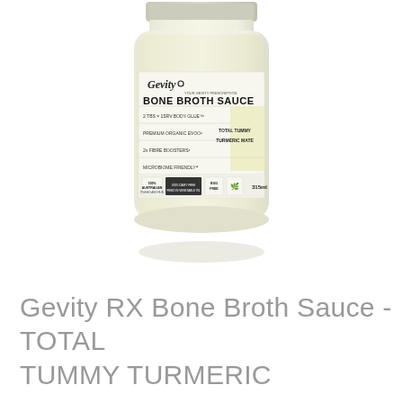[Figure (photo): A glass jar of Gevity RX Bone Broth Sauce in Total Tummy Turmeric flavor. The jar has a cream/pale yellow label with the Gevity logo at top, bold text reading 'BONE BROTH SAUCE', and bullet points listing '2 TBS = 1SRV BODY GLUE', 'PREMIUM ORGANIC EVOO', '2x FIBRE BOOSTERS', 'MICROBIOME FRIENDLY'. A pale yellow square section on the right side reads 'TOTAL TUMMY TURMERIC MATE'. The bottom of the label shows icons and '315ml'. The jar contents appear pale yellow/cream colored.]
Gevity RX Bone Broth Sauce - TOTAL TUMMY TURMERIC